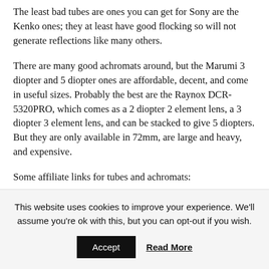The least bad tubes are ones you can get for Sony are the Kenko ones; they at least have good flocking so will not generate reflections like many others.
There are many good achromats around, but the Marumi 3 diopter and 5 diopter ones are affordable, decent, and come in useful sizes. Probably the best are the Raynox DCR-5320PRO, which comes as a 2 diopter 2 element lens, a 3 diopter 3 element lens, and can be stacked to give 5 diopters. But they are only available in 72mm, are large and heavy, and expensive.
Some affiliate links for tubes and achromats:
Kenko Extension Tubes: BHPhotoVideo
This website uses cookies to improve your experience. We'll assume you're ok with this, but you can opt-out if you wish.
Accept   Read More